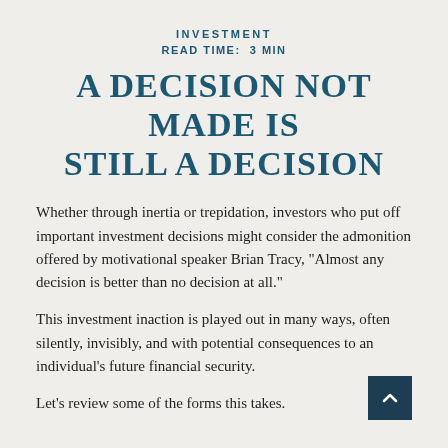INVESTMENT
READ TIME: 3 MIN
A DECISION NOT MADE IS STILL A DECISION
Whether through inertia or trepidation, investors who put off important investment decisions might consider the admonition offered by motivational speaker Brian Tracy, "Almost any decision is better than no decision at all."
This investment inaction is played out in many ways, often silently, invisibly, and with potential consequences to an individual's future financial security.
Let's review some of the forms this takes.